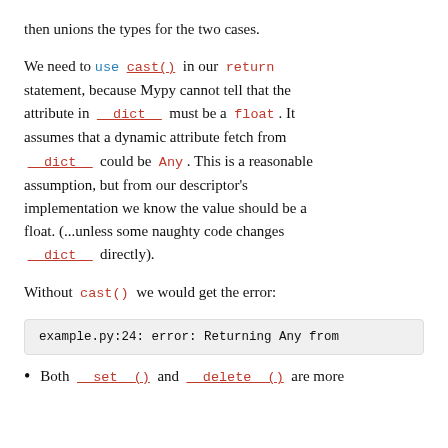then unions the types for the two cases.
We need to use cast() in our return statement, because Mypy cannot tell that the attribute in __dict__ must be a float. It assumes that a dynamic attribute fetch from __dict__ could be Any. This is a reasonable assumption, but from our descriptor's implementation we know the value should be a float. (...unless some naughty code changes __dict__ directly).
Without cast() we would get the error:
example.py:24: error: Returning Any from
Both __set__() and __delete__() are more